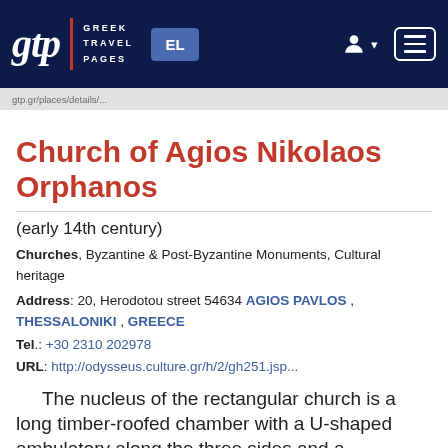gtp | GREEK TRAVEL PAGES  EL
Church of Agios Nikolaos Orphanos
(early 14th century)
Churches, Byzantine & Post-Byzantine Monuments, Cultural heritage
Address: 20, Herodotou street 54634 AGIOS PAVLOS , THESSALONIKI , GREECE
Tel.: +30 2310 202978
URL: http://odysseus.culture.gr/h/2/gh251.jsp...
The nucleus of the rectangular church is a long timber-roofed chamber with a U-shaped ambulatory along the three sides and a